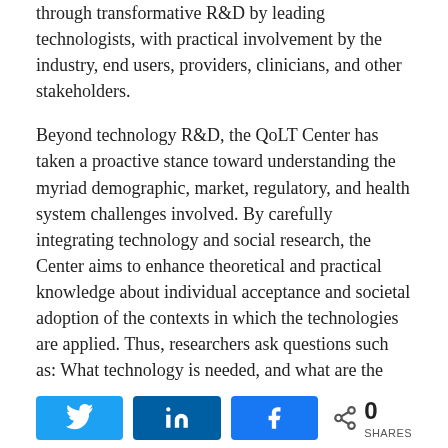through transformative R&D by leading technologists, with practical involvement by the industry, end users, providers, clinicians, and other stakeholders.
Beyond technology R&D, the QoLT Center has taken a proactive stance toward understanding the myriad demographic, market, regulatory, and health system challenges involved. By carefully integrating technology and social research, the Center aims to enhance theoretical and practical knowledge about individual acceptance and societal adoption of the contexts in which the technologies are applied. Thus, researchers ask questions such as: What technology is needed, and what are the barriers to individual acceptance? Responses will be varied and may
[Figure (other): Social share bar with Twitter, LinkedIn, and Facebook buttons, plus a share count showing 0 SHARES]